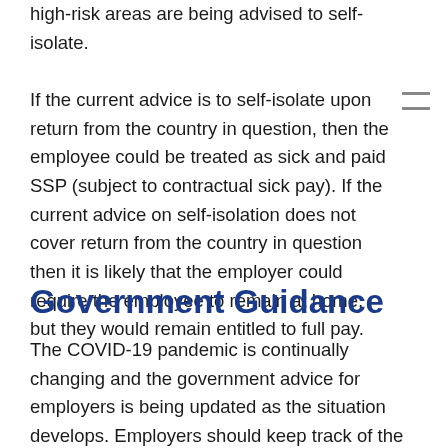high-risk areas are being advised to self-isolate. If the current advice is to self-isolate upon return from the country in question, then the employee could be treated as sick and paid SSP (subject to contractual sick pay). If the current advice on self-isolation does not cover return from the country in question then it is likely that the employer could require the employee to remain at home, but they would remain entitled to full pay.
Government Guidance
The COVID-19 pandemic is continually changing and the government advice for employers is being updated as the situation develops. Employers should keep track of the guidance for employers from the following